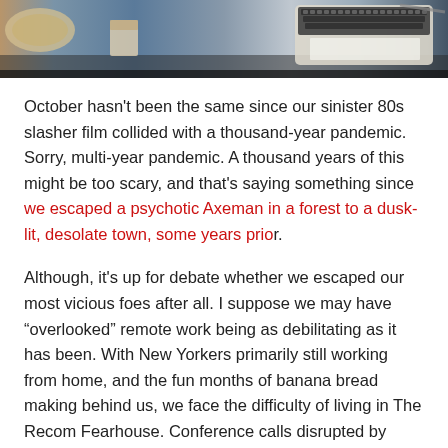[Figure (photo): A top-down photo showing a typewriter keyboard, some objects on a dark table surface, and what appears to be food items on the left edge.]
October hasn't been the same since our sinister 80s slasher film collided with a thousand-year pandemic. Sorry, multi-year pandemic. A thousand years of this might be too scary, and that's saying something since we escaped a psychotic Axeman in a forest to a dusk-lit, desolate town, some years prior.
Although, it's up for debate whether we escaped our most vicious foes after all. I suppose we may have “overlooked” remote work being as debilitating as it has been. With New Yorkers primarily still working from home, and the fun months of banana bread making behind us, we face the difficulty of living in The Recom Fearhouse. Conference calls disrupted by barking dogs, spilled coffee from tripping over children’s toys, ordering pizza in a trance of perpetual snacking…